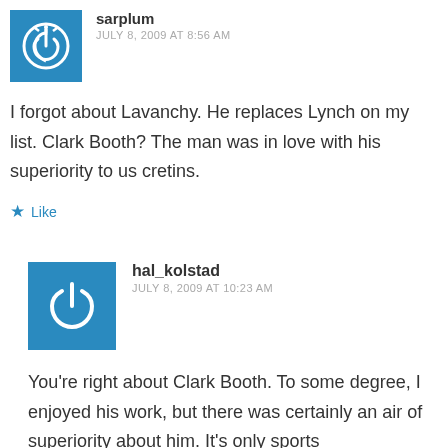sarplum
JULY 8, 2009 AT 8:56 AM
I forgot about Lavanchy. He replaces Lynch on my list. Clark Booth? The man was in love with his superiority to us cretins.
Like
hal_kolstad
JULY 8, 2009 AT 10:23 AM
You’re right about Clark Booth. To some degree, I enjoyed his work, but there was certainly an air of superiority about him. It’s only sports